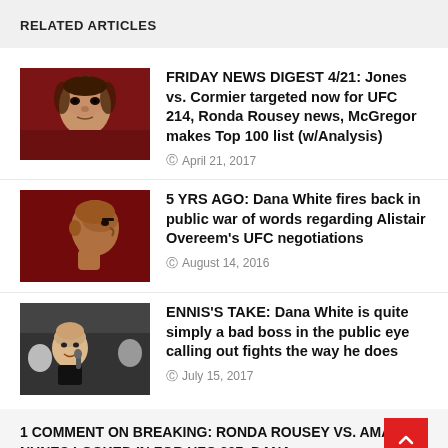RELATED ARTICLES
FRIDAY NEWS DIGEST 4/21: Jones vs. Cormier targeted now for UFC 214, Ronda Rousey news, McGregor makes Top 100 list (w/Analysis) — April 21, 2017
5 YRS AGO: Dana White fires back in public war of words regarding Alistair Overeem's UFC negotiations — August 14, 2016
ENNIS'S TAKE: Dana White is quite simply a bad boss in the public eye calling out fights the way he does — July 15, 2017
1 COMMENT ON BREAKING: RONDA ROUSEY VS. AMANDA NUNES LOCKED IN FOR UFC 207, DANA